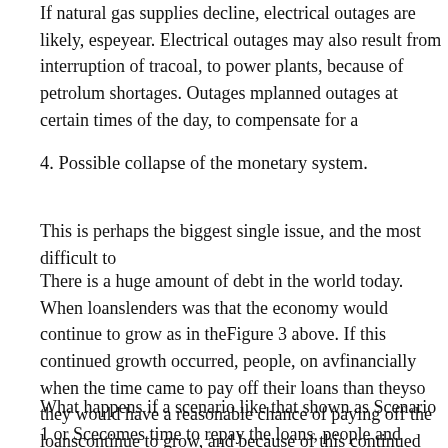If natural gas supplies decline, electrical outages are likely, especially in winter. Electrical outages may also result from interruption of transportation of coal, to power plants, because of petrolum shortages. Outages may be planned outages at certain times of the day, to compensate for a
4. Possible collapse of the monetary system.
This is perhaps the biggest single issue, and the most difficult to
There is a huge amount of debt in the world today. When loans were made, lenders was that the economy would continue to grow as in the Figure 3 above. If this continued growth occurred, people, on av financially when the time came to pay off their loans than they so they would have a reasonable chance of paying off the loans continue to grow, and because of this continued growth, most w with interest.
What happens if a scenario like that shown as Scenario 1 or Sce comes time to repay the loans, people and corporations will be c have off the value place that they set out of A likelihood